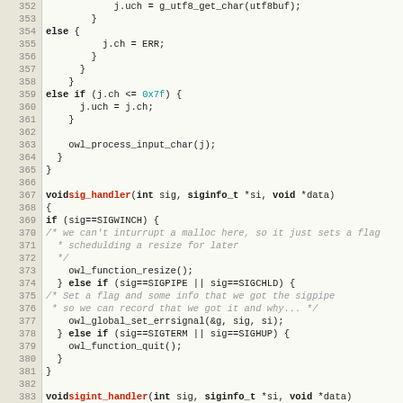[Figure (screenshot): Source code listing in C showing lines 352-382, including sig_handler and related functions, with syntax highlighting on a light tan background.]